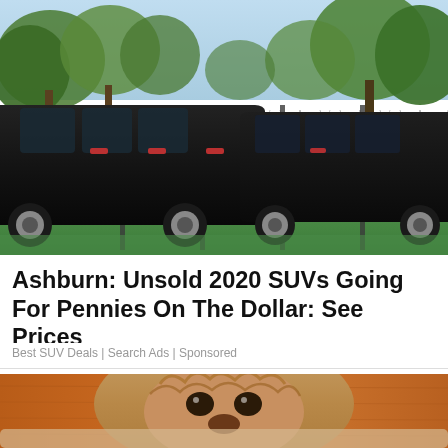[Figure (photo): Black SUVs/vehicles parked behind a chain-link fence on green grass, with trees and light blue sky in background. Multiple large black SUVs visible through the fence.]
Ashburn: Unsold 2020 SUVs Going For Pennies On The Dollar: See Prices
Best SUV Deals | Search Ads | Sponsored
[Figure (photo): Close-up of a dog's face (appears to be a small breed with curly/wavy hair) looking upward, with brown/orange background.]